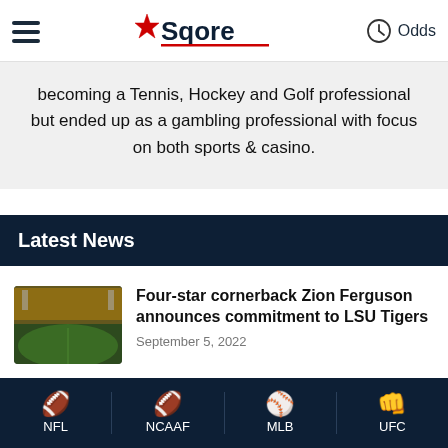Sqore — Odds
becoming a Tennis, Hockey and Golf professional but ended up as a gambling professional with focus on both sports & casino.
Latest News
Four-star cornerback Zion Ferguson announces commitment to LSU Tigers
September 5, 2022
Michigan State DE Jacoby Windmon wins national player of week award
NFL  NCAAF  MLB  UFC